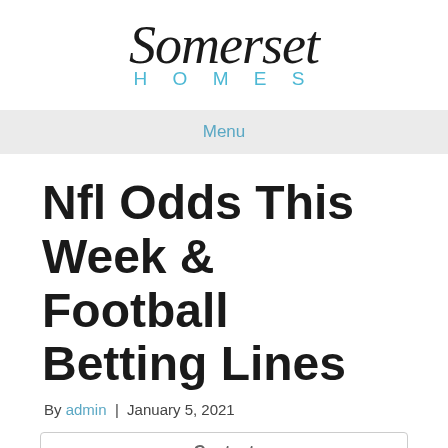[Figure (logo): Somerset Homes logo with script font for 'Somerset' and spaced caps for 'HOMES' in blue]
Menu
Nfl Odds This Week & Football Betting Lines
By admin | January 5, 2021
Content
Sunday, November 21st, 2021
Broncos Vs Browns Live Odds!